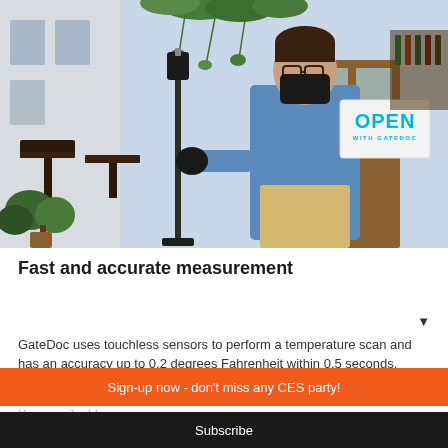[Figure (photo): A man wearing a black face mask and gloves, dressed in a blue shirt and tan apron, standing outside a restaurant entrance. He is holding an 'OPEN WITH GATEDOC' sign. There is a temperature scanning kiosk/stand on a pole next to him. Restaurant tables and green plants are visible in the background.]
Fast and accurate measurement
GateDoc uses touchless sensors to perform a temperature scan and has an accuracy up to 0.2 degrees Fahrenheit within 0.5 seconds. Visitors simply place their head one to four inches in front of
Sign-up now - don't miss any CES party!
Your email address...
Subscribe